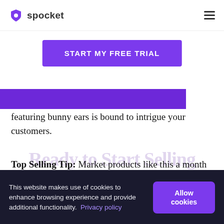spocket
[Figure (other): START MY FREE TRIAL button - purple CTA button]
featuring bunny ears is bound to intrigue your customers.
Top Selling Tip: Market products like this a month or so before Easter. Rabbit-related kids products tend to skyrocket in popularity around this time. You'll be amazed at how many parents want to buy
This website makes use of cookies to enhance browsing experience and provide additional functionality. Privacy policy
Ready to Start Selling